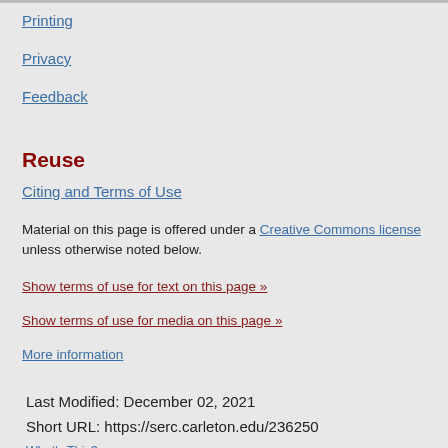Printing
Privacy
Feedback
Reuse
Citing and Terms of Use
Material on this page is offered under a Creative Commons license unless otherwise noted below.
Show terms of use for text on this page »
Show terms of use for media on this page »
More information
Last Modified: December 02, 2021
Short URL: https://serc.carleton.edu/236250
What's This?